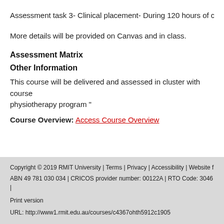Assessment task 3- Clinical placement- During 120 hours of clini
More details will be provided on Canvas and in class.
Assessment Matrix
Other Information
This course will be delivered and assessed in cluster with course physiotherapy program "
Course Overview: Access Course Overview
Copyright © 2019 RMIT University | Terms | Privacy | Accessibility | Website f ABN 49 781 030 034 | CRICOS provider number: 00122A | RTO Code: 3046 | Print version URL: http://www1.rmit.edu.au/courses/c4367ohth5912c1905